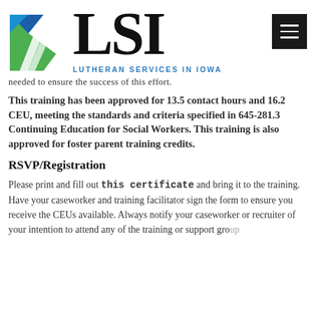[Figure (logo): LSI Lutheran Services in Iowa logo with blue and green angular icon and large LSI text, plus hamburger menu button top right]
needed to ensure the success of this effort.
This training has been approved for 13.5 contact hours and 16.2 CEU, meeting the standards and criteria specified in 645-281.3 Continuing Education for Social Workers. This training is also approved for foster parent training credits.
RSVP/Registration
Please print and fill out this certificate and bring it to the training. Have your caseworker and training facilitator sign the form to ensure you receive the CEUs available. Always notify your caseworker or recruiter of your intention to attend any of the training or support group events on this calendar. Acceptable proof would also